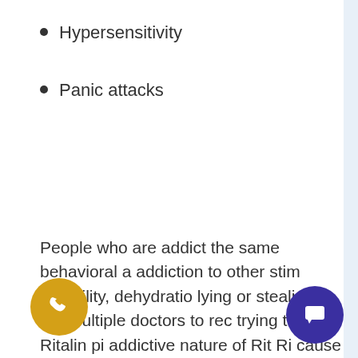Hypersensitivity
Panic attacks
People who are addict the same behavioral a addiction to other stim irritability, dehydratio lying or stealing in or multiple doctors to re trying to get Ritalin p addictive nature of Rit Ri cause withdrawal?
Hi there! I'm one of Laguna View Detox's admissions assistants. I'm here to help you find treatment, regardless of your situation. To get you personalized recommendations I need to know a little more info. Are you a new or existing patient?
I'm a new patient
I'm an existing patient